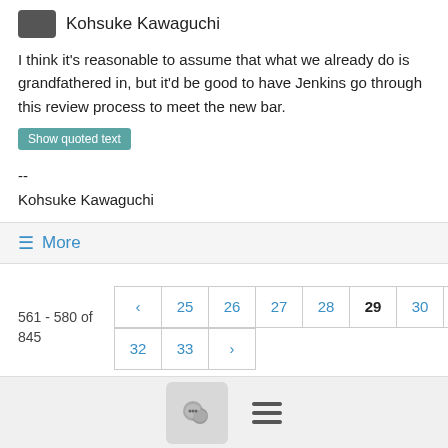Kohsuke Kawaguchi
I think it's reasonable to assume that what we already do is grandfathered in, but it'd be good to have Jenkins go through this review process to meet the new bar.
Show quoted text
--
Kohsuke Kawaguchi
≡ More
561 - 580 of 845
| ‹ | 25 | 26 | 27 | 28 | 29 | 30 | 31 |
| 32 | 33 | › |